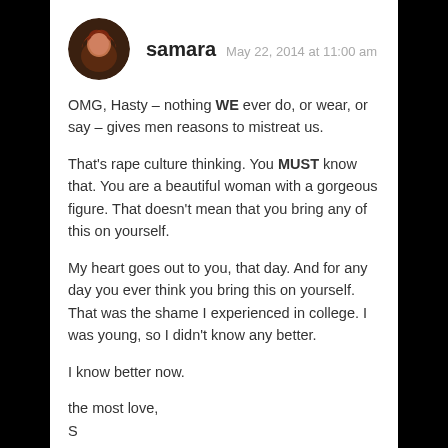samara  May 22, 2014 at 11:00 am
OMG, Hasty – nothing WE ever do, or wear, or say – gives men reasons to mistreat us.
That's rape culture thinking. You MUST know that. You are a beautiful woman with a gorgeous figure. That doesn't mean that you bring any of this on yourself.
My heart goes out to you, that day. And for any day you ever think you bring this on yourself. That was the shame I experienced in college. I was young, so I didn't know any better.
I know better now.
the most love,
S